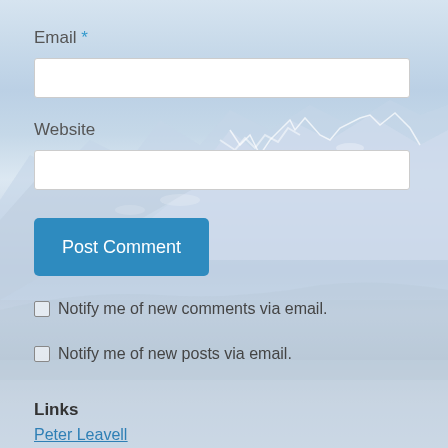Email *
[Figure (screenshot): Email text input field (empty, white background with border)]
Website
[Figure (screenshot): Website text input field (empty, white background with border)]
[Figure (screenshot): Blue 'Post Comment' button]
Notify me of new comments via email.
Notify me of new posts via email.
Links
Peter Leavell